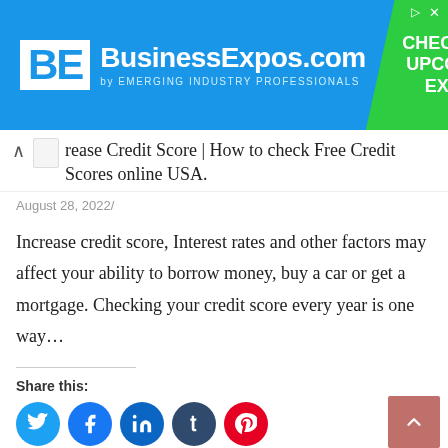[Figure (screenshot): BusinessExpos.com advertisement banner with blue background, BE logo in white box, and green chevron block with 'CHECK FOR UPCOMING EXPOS' text]
rease Credit Score | How to check Free Credit Scores online USA.
August 28, 2022/
Increase credit score, Interest rates and other factors may affect your ability to borrow money, buy a car or get a mortgage. Checking your credit score every year is one way…
Share this:
[Figure (illustration): Social media share buttons: Twitter (blue), Facebook (blue), LinkedIn (teal), Tumblr (dark navy), Pinterest (red)]
Like this:
Like